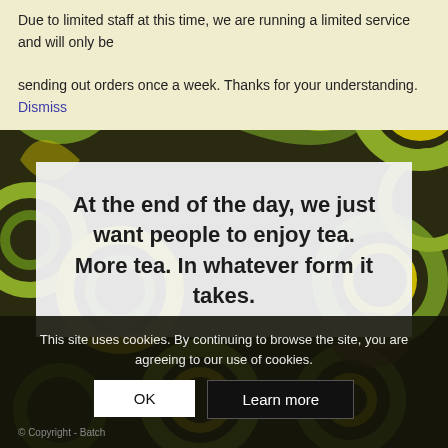features, and you don't have to pay an arm and
Due to limited staff at this time, we are running a limited service and will only be sending out orders once a week. Thanks for your understanding. Dismiss
[Figure (illustration): Decorative swirling pattern background in yellow, green, and dark olive tones]
At the end of the day, we just want people to enjoy tea. More tea. In whatever form it takes.
This site uses cookies. By continuing to browse the site, you are agreeing to our use of cookies.
OK
Learn more
© Copyright - Batch